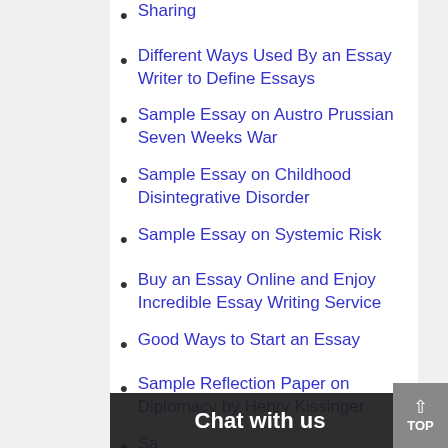Sharing
Different Ways Used By an Essay Writer to Define Essays
Sample Essay on Austro Prussian Seven Weeks War
Sample Essay on Childhood Disintegrative Disorder
Sample Essay on Systemic Risk
Buy an Essay Online and Enjoy Incredible Essay Writing Service
Good Ways to Start an Essay
Sample Reflection Paper on Diplomacy by Henry Kissinger
Sa... Bi... (partial)